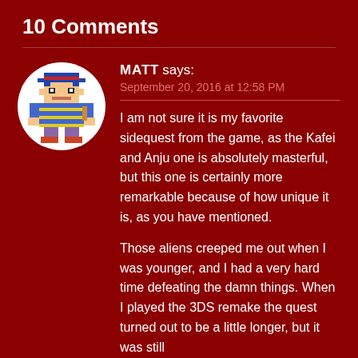10 Comments
[Figure (illustration): Pixel art avatar of a video game character (Ness from EarthBound) inside a white circle]
MATT says:
September 20, 2016 at 12:58 PM
I am not sure it is my favorite sidequest from the game, as the Kafei and Anju one is absolutely masterful, but this one is certainly more remarkable because of how unique it is, as you have mentioned.
Those aliens creeped me out when I was younger, and I had a very hard time defeating the damn things. When I played the 3DS remake the quest turned out to be a little longer, but it was still